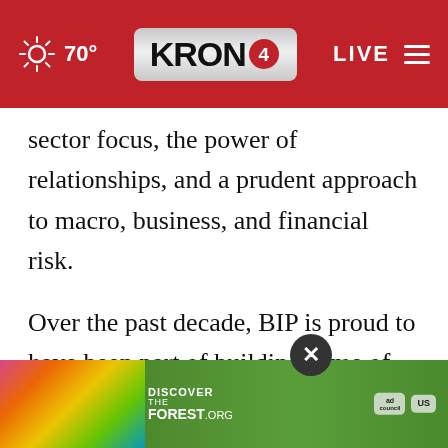[Figure (screenshot): KRON4 news website header bar in red with weather (sun icon, 70°), KRON4 logo in center, and LIVE with hamburger menu on the right]
sector focus, the power of relationships, and a prudent approach to macro, business, and financial risk.
Over the past decade, BIP is proud to have been part of building some of the fastest-growing and most dynamic businesses in the middle-market U.S. building industry: U.S. LBM Holdings, Kodiak Building Partners, United Cabinet Holdings, Rugby Architectural Building Prod... nce
[Figure (screenshot): DISCOVERtheFOREST.org advertisement banner with colorful floral background, ad council and US Forest Service logos, and a close (X) button]